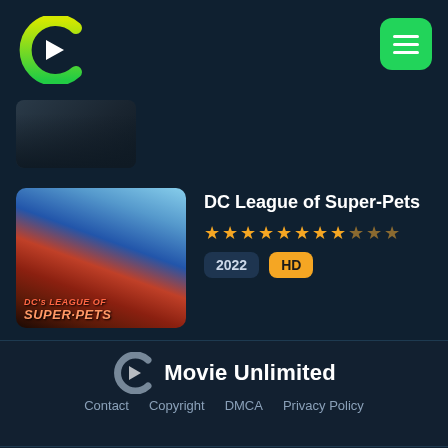[Figure (logo): Movie Unlimited streaming site logo - green C-shaped letter with play triangle]
[Figure (other): Green hamburger menu button]
[Figure (photo): Small dark movie thumbnail preview]
[Figure (photo): DC League of Super-Pets movie poster]
DC League of Super-Pets
★★★★★★★★☆★★ (star rating)
2022 HD
[Figure (logo): Footer Movie Unlimited logo with gray C icon]
Movie Unlimited
Contact  Copyright  DMCA  Privacy Policy